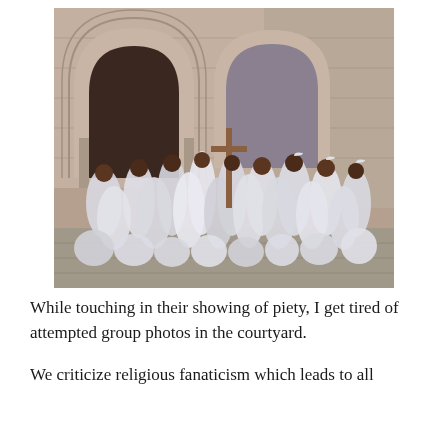[Figure (photo): A group of people dressed in white robes gathered in front of a stone church building with ornate arched doorways. One person holds a large wooden cross. The group includes men, women, and children, some seated on the ground. The building appears to be the Church of the Holy Sepulchre in Jerusalem.]
While touching in their showing of piety, I get tired of attempted group photos in the courtyard.
We criticize religious fanaticism which leads to all